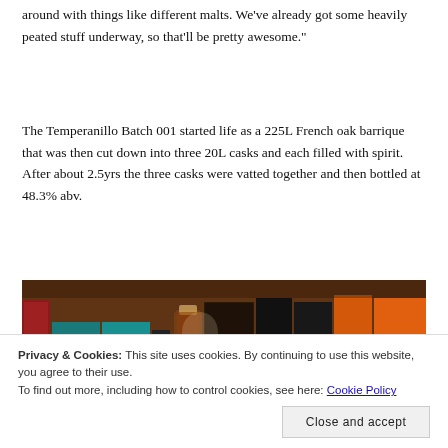around with things like different malts. We've already got some heavily peated stuff underway, so that'll be pretty awesome."
The Temperanillo Batch 001 started life as a 225L French oak barrique that was then cut down into three 20L casks and each filled with spirit. After about 2.5yrs the three casks were vatted together and then bottled at 48.3% abv.
[Figure (photo): A bookshelf with various whisky books and a bottle of whisky standing among them. Visible book titles include '1001 W You Must Try', 'Bourbon', 'The New Single M...', 'Japanese Whisky', and others with orange/dark spines.]
Privacy & Cookies: This site uses cookies. By continuing to use this website, you agree to their use.
To find out more, including how to control cookies, see here: Cookie Policy
Close and accept